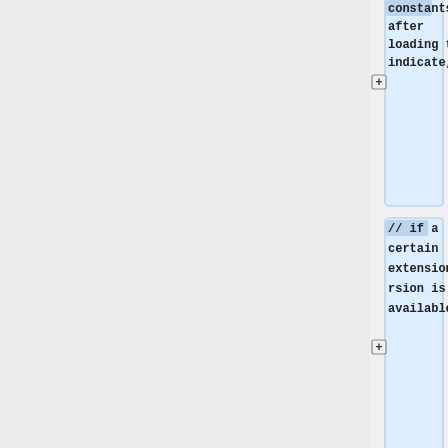[Figure (screenshot): Code diff viewer showing C/OpenGL code snippets. Left panel is grey (empty/sidebar). Right panel shows four code blocks with blue backgrounds: 1) 'constants after loading to indicate,' 2) '// if a certain extension/version is available.' 3) 'printf("OpenGL %d.%d\n", GLVersion.major, GLVersion.minor);' 4) empty block 5) 'if(GLAD_GL_E' (truncated). Each block has a '+' expand button on its left side.]